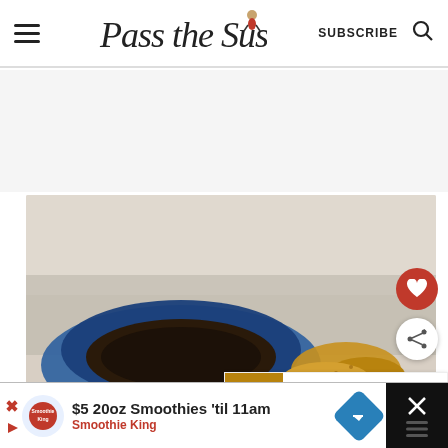Pass the Sushi — SUBSCRIBE
[Figure (photo): Food photo showing a blue bowl with dark sauce and crispy breaded chicken pieces on a plate, blurred background]
[Figure (infographic): What's Next panel showing crispy baked chicken thumbnail with label 'WHAT'S NEXT' and title 'Crispy Baked Chicken...']
[Figure (infographic): Bottom ad banner: $5 20oz Smoothies 'til 11am - Smoothie King, with play icon, close X, Smoothie King logo, blue arrow navigation button, and dark panel on right]